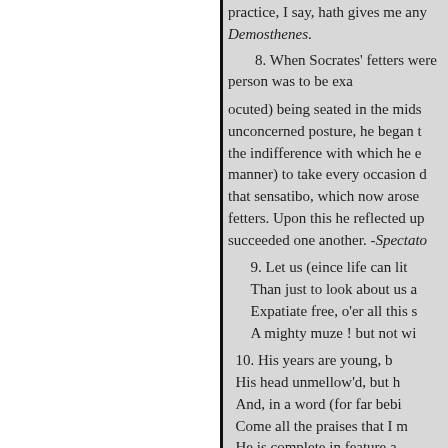practice, I say, hath gives me any Demosthenes.
8. When Socrates' fetters were person was to be exa ocuted) being seated in the midst unconcerned posture, he began to the indifference with which he e manner) to take every occasion d that sensatibo, which now arose fetters. Upon this he reflected up succeeded one another. -Spectato
9. Let us (eince life can lit Than just to look about us a Expatiate free, o'er all this s A mighty muze ! but not wi
10. His years are young, b His head unmellow'd, but h And, in a word (for far bebi Come all the praises that I m He is complete in feature a With all good grace to grac